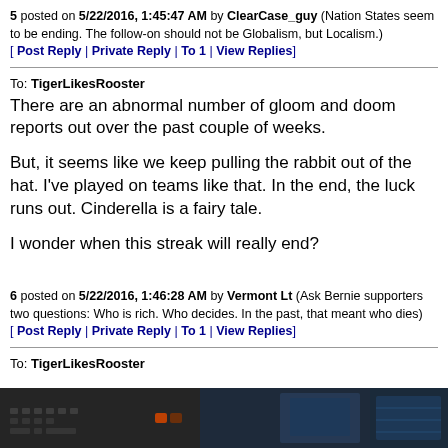5 posted on 5/22/2016, 1:45:47 AM by ClearCase_guy (Nation States seem to be ending. The follow-on should not be Globalism, but Localism.) [ Post Reply | Private Reply | To 1 | View Replies]
To: TigerLikesRooster
There are an abnormal number of gloom and doom reports out over the past couple of weeks.
But, it seems like we keep pulling the rabbit out of the hat. I've played on teams like that. In the end, the luck runs out. Cinderella is a fairy tale.
I wonder when this streak will really end?
6 posted on 5/22/2016, 1:46:28 AM by Vermont Lt (Ask Bernie supporters two questions: Who is rich. Who decides. In the past, that meant who dies) [ Post Reply | Private Reply | To 1 | View Replies]
To: TigerLikesRooster
[Figure (photo): Dark photo of electronic equipment/control panel with keyboards and screens]